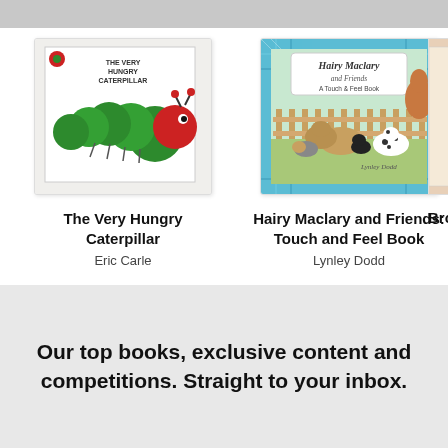[Figure (illustration): Book product image: The Very Hungry Caterpillar by Eric Carle — a gift set box with a plush caterpillar and book]
The Very Hungry Caterpillar
Eric Carle
[Figure (illustration): Book cover: Hairy Maclary and Friends: A Touch & Feel Book by Lynley Dodd — animals on a farm, blue tartan border]
Hairy Maclary and Friends: Touch and Feel Book
Lynley Dodd
[Figure (illustration): Partially visible third book cover, cropped at right edge, title beginning with 'Bro']
Bro
Our top books, exclusive content and competitions. Straight to your inbox.